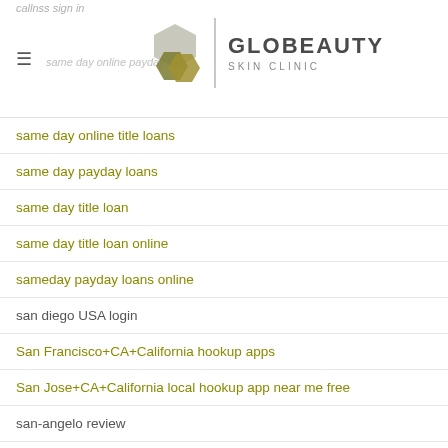callnss sign in | same day online payday — GLOBEAUTY SKIN CLINIC
same day online title loans
same day payday loans
same day title loan
same day title loan online
sameday payday loans online
san diego USA login
San Francisco+CA+California hookup apps
San Jose+CA+California local hookup app near me free
san-angelo review
san-antonio dating
san-antonio escort